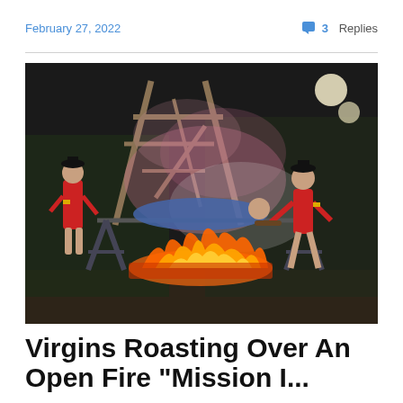February 27, 2022   💬 3 Replies
[Figure (photo): Three women in red outfits around a roasting spit over an open fire, with wooden scaffold structure in the background and pink smoke.]
Virgins Roasting Over An Open Fire "Mission I...